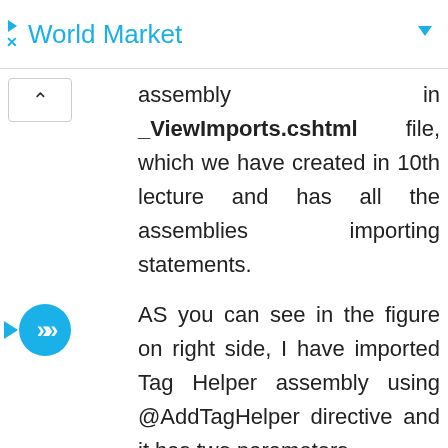World Market
assembly in _ViewImports.cshtml file, which we have created in 10th lecture and has all the assemblies importing statements.
AS you can see in the figure on right side, I have imported Tag Helper assembly using @AddTagHelper directive and it has two parameters.